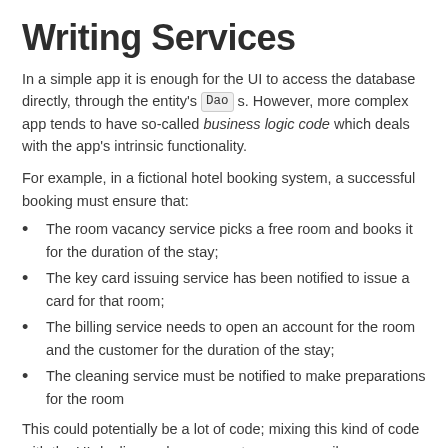Writing Services
In a simple app it is enough for the UI to access the database directly, through the entity's Dao s. However, more complex app tends to have so-called business logic code which deals with the app's intrinsic functionality.
For example, in a fictional hotel booking system, a successful booking must ensure that:
The room vacancy service picks a free room and books it for the duration of the stay;
The key card issuing service has been notified to issue a card for that room;
The billing service needs to open an account for the room and the customer for the duration of the stay;
The cleaning service must be notified to make preparations for the room
This could potentially be a lot of code; mixing this kind of code with the UI-dealing code may create unnecessarily